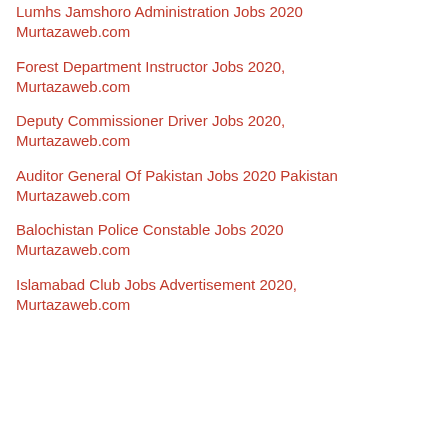Lumhs Jamshoro Administration Jobs 2020 Murtazaweb.com
Forest Department Instructor Jobs 2020, Murtazaweb.com
Deputy Commissioner Driver Jobs 2020, Murtazaweb.com
Auditor General Of Pakistan Jobs 2020 Pakistan Murtazaweb.com
Balochistan Police Constable Jobs 2020 Murtazaweb.com
Islamabad Club Jobs Advertisement 2020, Murtazaweb.com